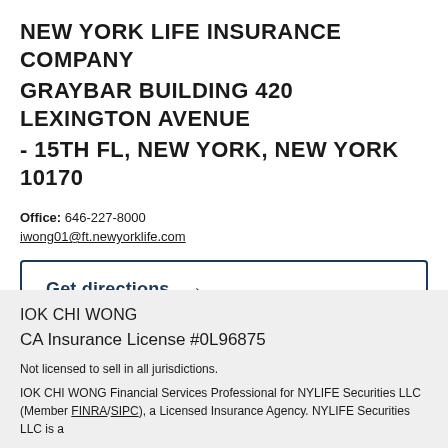NEW YORK LIFE INSURANCE COMPANY GRAYBAR BUILDING 420 LEXINGTON AVENUE - 15TH FL, NEW YORK, NEW YORK 10170
Office: 646-227-8000
iwong01@ft.newyorklife.com
Get directions →
IOK CHI WONG
CA Insurance License #0L96875
Not licensed to sell in all jurisdictions.
IOK CHI WONG Financial Services Professional for NYLIFE Securities LLC (Member FINRA/SIPC), a Licensed Insurance Agency. NYLIFE Securities LLC is a